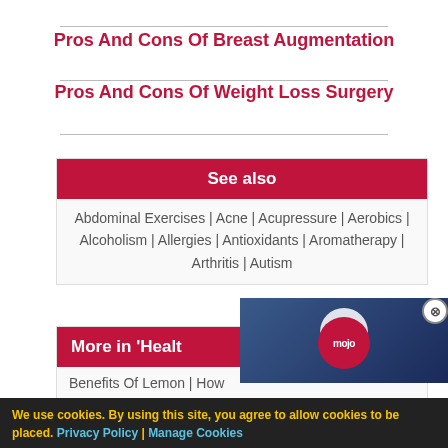Pros And Cons Of Breast Augmentation
Pros And Cons Of Weight Loss Surgery
See also
Abdominal Exercises | Acne | Acupressure | Aerobics | Alcoholism | Allergies | Antioxidants | Aromatherapy | Arthritis | Autism
More in 'Healt
Benefits Of Lemon | How
[Figure (screenshot): Video player overlay showing two women on a talk show, with WatchMojo logo and play button]
We use cookies. By using this site, you agree to allow cookies to be placed. Privacy Policy | Manage Cookies